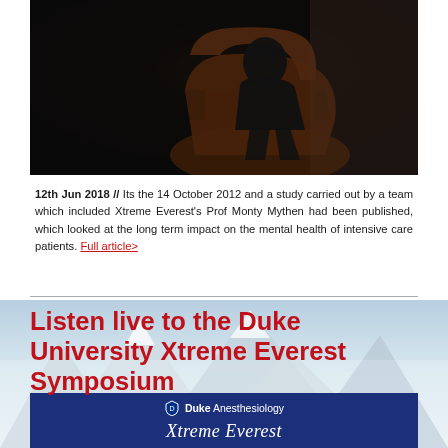[Figure (photo): Dark photo of a person sitting in a brown leather chair/armchair in a dimly lit room, figure appears to be in shadow]
12th Jun 2018 // Its the 14 October 2012 and a study carried out by a team which included Xtreme Everest's Prof Monty Mythen had been published, which looked at the long term impact on the mental health of intensive care patients. Full article>
Listen live to the Duke University Xtreme Everest Symposium
[Figure (screenshot): Duke Anesthesiology banner/promotional image showing 'Xtreme Everest' text in white on dark blue background with Duke Anesthesiology logo]